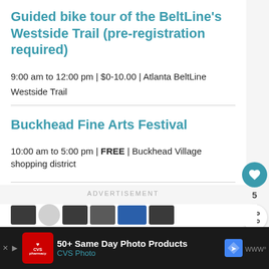Guided bike tour of the BeltLine's Westside Trail (pre-registration required)
9:00 am to 12:00 pm | $0-10.00 | Atlanta BeltLine
Westside Trail
Buckhead Fine Arts Festival
10:00 am to 5:00 pm | FREE | Buckhead Village shopping district
ADVERTISEMENT
[Figure (screenshot): Ad banner for CVS Photo: '50+ Same Day Photo Products' with CVS Pharmacy logo, Google Maps navigation icon, and Waze icon on dark background]